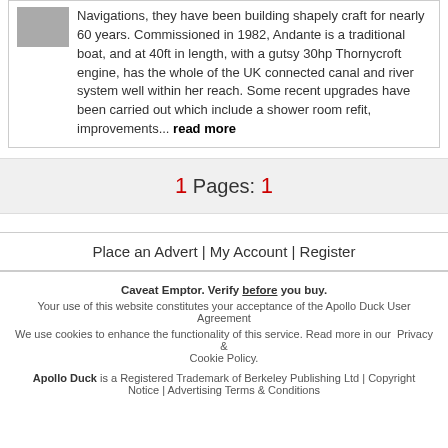Navigations, they have been building shapely craft for nearly 60 years. Commissioned in 1982, Andante is a traditional boat, and at 40ft in length, with a gutsy 30hp Thornycroft engine, has the whole of the UK connected canal and river system well within her reach. Some recent upgrades have been carried out which include a shower room refit, improvements... read more
1 Pages: 1
Place an Advert | My Account | Register
Caveat Emptor. Verify before you buy.
Your use of this website constitutes your acceptance of the Apollo Duck User Agreement
We use cookies to enhance the functionality of this service. Read more in our Privacy & Cookie Policy.
Apollo Duck is a Registered Trademark of Berkeley Publishing Ltd | Copyright Notice | Advertising Terms & Conditions